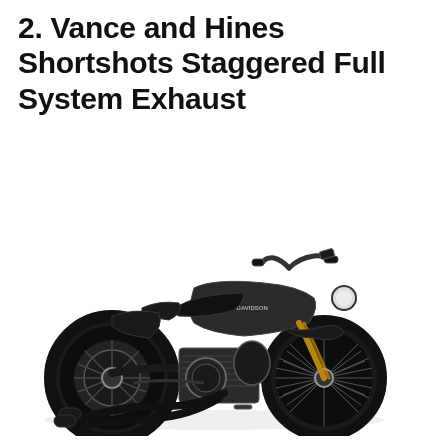2. Vance and Hines Shortshots Staggered Full System Exhaust
[Figure (photo): Side profile photograph of a black Harley-Davidson Sportster motorcycle with Vance and Hines Shortshots Staggered Full System Exhaust installed. The motorcycle is shown on a white background, facing right, with black matte finish tank, chrome engine details, and black exhaust pipes on the left side.]